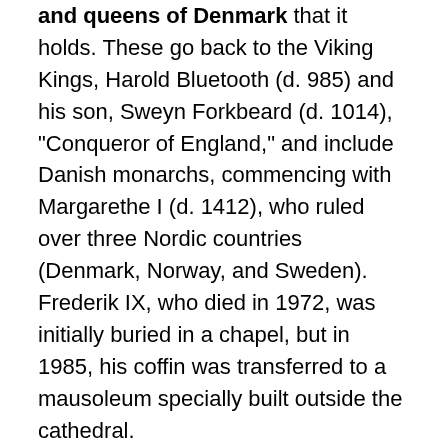and queens of Denmark that it holds. These go back to the Viking Kings, Harold Bluetooth (d. 985) and his son, Sweyn Forkbeard (d. 1014), "Conqueror of England," and include Danish monarchs, commencing with Margarethe I (d. 1412), who ruled over three Nordic countries (Denmark, Norway, and Sweden). Frederik IX, who died in 1972, was initially buried in a chapel, but in 1985, his coffin was transferred to a mausoleum specially built outside the cathedral.
In the 1170s, construction of the present brick church began. It took more than a century to build and is one of Northern Europe's earliest examples of Gothic architecture.
Sarcophagus...